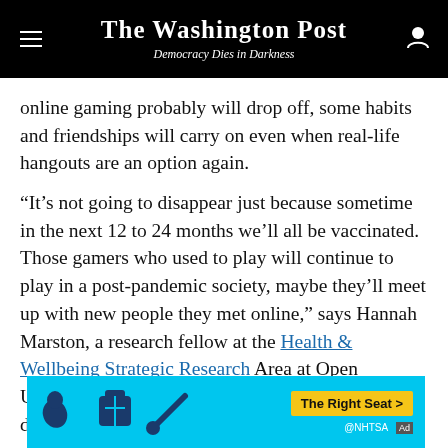The Washington Post — Democracy Dies in Darkness
online gaming probably will drop off, some habits and friendships will carry on even when real-life hangouts are an option again.
“It’s not going to disappear just because sometime in the next 12 to 24 months we’ll all be vaccinated. Those gamers who used to play will continue to play in a post-pandemic society, maybe they’ll meet up with new people they met online,” says Hannah Marston, a research fellow at the Health & Wellbeing Strategic Research Area at Open University in Britain who has studied gaming during the pandemic.
[Figure (other): Advertisement banner for NHTSA 'The Right Seat' campaign with cyan background, vehicle seat icons, and a yellow call-to-action button.]